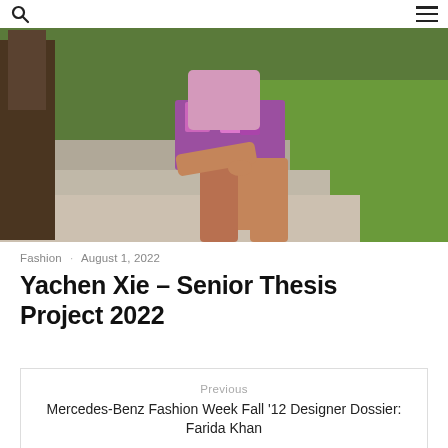Search | Menu
[Figure (photo): A person wearing a colorful purple patterned outfit/shorts sitting near a concrete ledge with green grass in the background.]
Fashion · August 1, 2022
Yachen Xie – Senior Thesis Project 2022
Previous
Mercedes-Benz Fashion Week Fall '12 Designer Dossier: Farida Khan
Next
Academy of Art University Major Mixer!